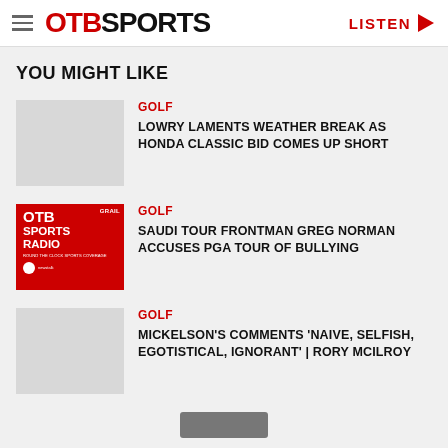OTB SPORTS | LISTEN
YOU MIGHT LIKE
GOLF | LOWRY LAMENTS WEATHER BREAK AS HONDA CLASSIC BID COMES UP SHORT
[Figure (logo): OTB Sports Radio logo on red background]
GOLF | SAUDI TOUR FRONTMAN GREG NORMAN ACCUSES PGA TOUR OF BULLYING
GOLF | MICKELSON'S COMMENTS 'NAIVE, SELFISH, EGOTISTICAL, IGNORANT' | RORY MCILROY